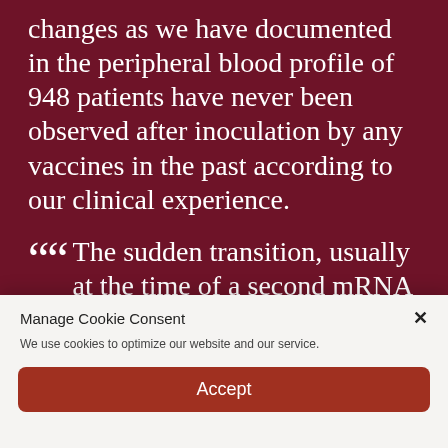changes as we have documented in the peripheral blood profile of 948 patients have never been observed after inoculation by any vaccines in the past according to our clinical experience.
““ The sudden transition, usually at the time of a second mRNA
Manage Cookie Consent
We use cookies to optimize our website and our service.
Accept